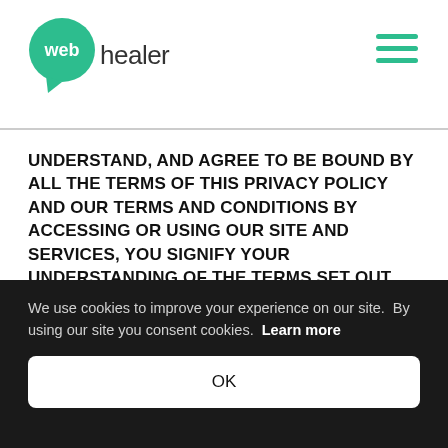webhealer
UNDERSTAND, AND AGREE TO BE BOUND BY ALL THE TERMS OF THIS PRIVACY POLICY AND OUR TERMS AND CONDITIONS BY ACCESSING OR USING OUR SITE AND SERVICES, YOU SIGNIFY YOUR UNDERSTANDING OF THE TERMS SET OUT HEREIN.
We are committed to respect and protect the privacy of the personal information we obtain from you through our Site and use of the Services and we have created this Privacy Policy to inform you about how we collect, use and share your personal information, and about our privacy practices in general.
We use cookies to improve your experience on our site. By using our site you consent cookies.  Learn more
OK